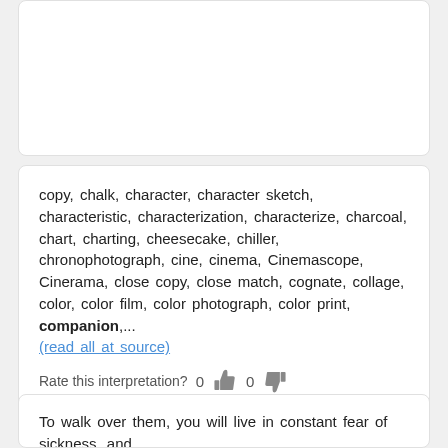[Figure (other): Empty white card placeholder at the top of the page]
copy, chalk, character, character sketch, characteristic, characterization, characterize, charcoal, chart, charting, cheesecake, chiller, chronophotograph, cine, cinema, Cinemascope, Cinerama, close copy, close match, cognate, collage, color, color film, color photograph, color print, companion,... (read all at source)
Rate this interpretation? 0 [thumbs up] 0 [thumbs down]
To walk over them, you will live in constant fear of sickness, and